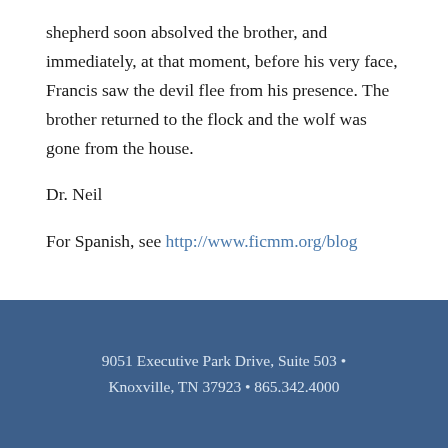shepherd soon absolved the brother, and immediately, at that moment, before his very face, Francis saw the devil flee from his presence. The brother returned to the flock and the wolf was gone from the house.
Dr. Neil
For Spanish, see http://www.ficmm.org/blog
9051 Executive Park Drive, Suite 503 • Knoxville, TN 37923 • 865.342.4000